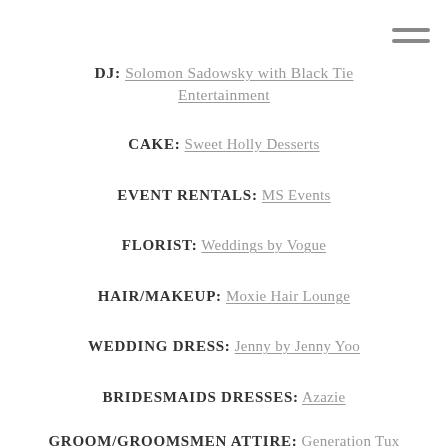DJ: Solomon Sadowsky with Black Tie Entertainment
CAKE: Sweet Holly Desserts
EVENT RENTALS: MS Events
FLORIST: Weddings by Vogue
HAIR/MAKEUP: Moxie Hair Lounge
WEDDING DRESS: Jenny by Jenny Yoo
BRIDESMAIDS DRESSES: Azazie
GROOM/GROOMSMEN ATTIRE: Generation Tux